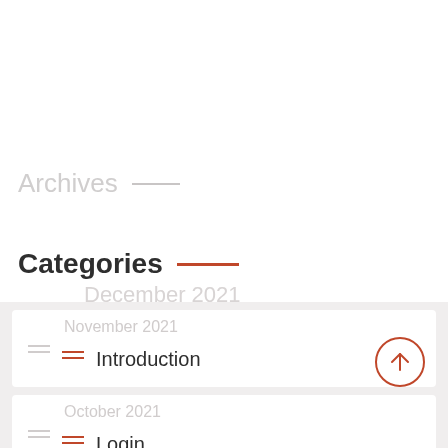Archives
Categories
December 2021
Introduction
November 2021
Login
October 2021